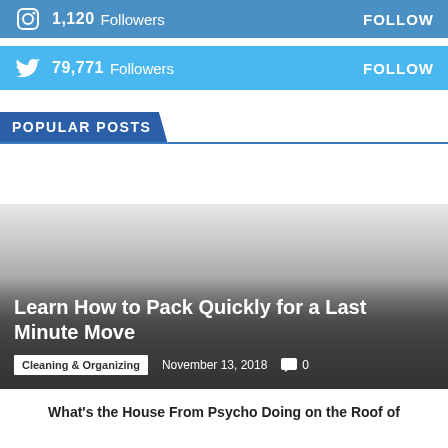[Figure (infographic): Instagram social follow bar with icon, 1,120 Followers count and FOLLOW button on dark blue background]
[Figure (infographic): Twitter social follow bar with bird icon, 79,771 Followers count and FOLLOW button on light blue background]
POPULAR POSTS
[Figure (photo): Article card image with gradient overlay showing title: Learn How to Pack Quickly for a Last Minute Move, category: Cleaning & Organizing, date: November 13, 2018, comments: 0]
What's the House From Psycho Doing on the Roof of